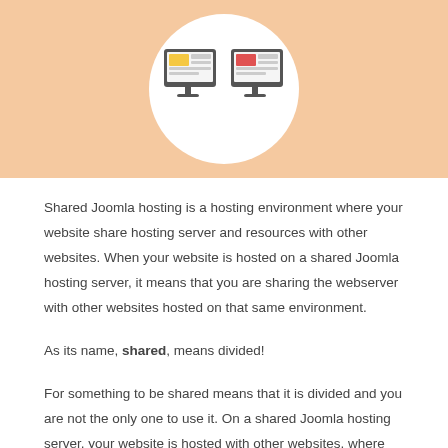[Figure (illustration): Illustration of two computer monitors on a peach/orange background with a white circle. One monitor has a yellow/green layout, the other has a red layout, representing shared hosting servers.]
Shared Joomla hosting is a hosting environment where your website share hosting server and resources with other websites. When your website is hosted on a shared Joomla hosting server, it means that you are sharing the webserver with other websites hosted on that same environment.
As its name, shared, means divided!
For something to be shared means that it is divided and you are not the only one to use it. On a shared Joomla hosting server, your website is hosted with other websites, where you share